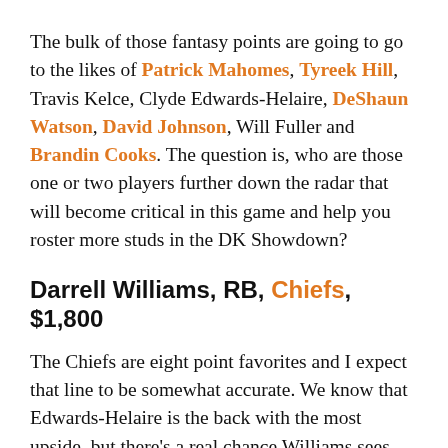The bulk of those fantasy points are going to go to the likes of Patrick Mahomes, Tyreek Hill, Travis Kelce, Clyde Edwards-Helaire, DeShaun Watson, David Johnson, Will Fuller and Brandin Cooks. The question is, who are those one or two players further down the radar that will become critical in this game and help you roster more studs in the DK Showdown?
Darrell Williams, RB, Chiefs, $1,800
The Chiefs are eight point favorites and I expect that line to be somewhat accurate. We know that Edwards-Helaire is the back with the most upside, but there's a real chance Williams sees useful snaps this week. His pass protection and Edwards-Helaire's rookie-ness could have the two splitting work, and at